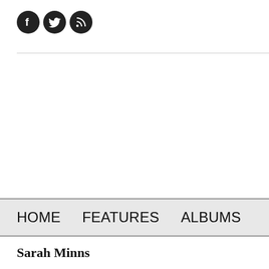[Figure (logo): Three circular social media icons: Facebook (f), Twitter (bird), RSS (wifi/signal symbol), dark/black circles with white icons]
HOME   FEATURES   ALBUMS
Sarah Minns